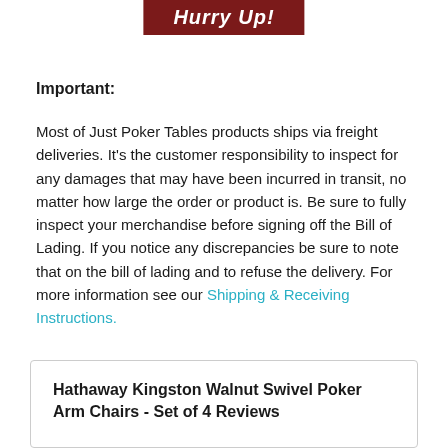Hurry Up!
Important:
Most of Just Poker Tables products ships via freight deliveries. It's the customer responsibility to inspect for any damages that may have been incurred in transit, no matter how large the order or product is. Be sure to fully inspect your merchandise before signing off the Bill of Lading. If you notice any discrepancies be sure to note that on the bill of lading and to refuse the delivery. For more information see our Shipping & Receiving Instructions.
Hathaway Kingston Walnut Swivel Poker Arm Chairs - Set of 4 Reviews